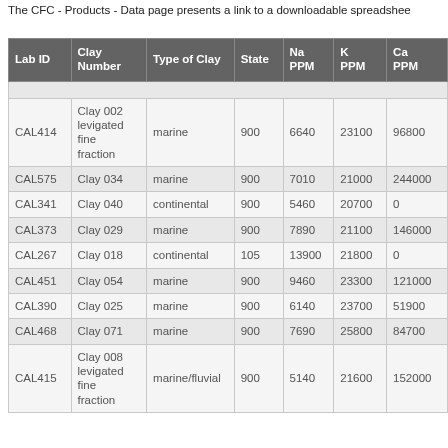The CFC - Products - Data page presents a link to a downloadable spreadshee
| Lab ID | Clay Number | Type of Clay | State | Na PPM | K PPM | Ca PPM |
| --- | --- | --- | --- | --- | --- | --- |
| CAL414 | Clay 002 levigated fine fraction | marine | 900 | 6640 | 23100 | 96800 |
| CAL575 | Clay 034 | marine | 900 | 7010 | 21000 | 244000 |
| CAL341 | Clay 040 | continental | 900 | 5460 | 20700 | 0 |
| CAL373 | Clay 029 | marine | 900 | 7890 | 21100 | 146000 |
| CAL267 | Clay 018 | continental | 105 | 13900 | 21800 | 0 |
| CAL451 | Clay 054 | marine | 900 | 9460 | 23300 | 121000 |
| CAL390 | Clay 025 | marine | 900 | 6140 | 23700 | 51900 |
| CAL468 | Clay 071 | marine | 900 | 7690 | 25800 | 84700 |
| CAL415 | Clay 008 levigated fine fraction | marine/fluvial | 900 | 5140 | 21600 | 152000 |